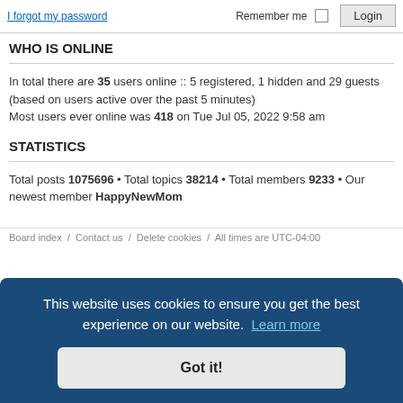I forgot my password
Remember me  Login
WHO IS ONLINE
In total there are 35 users online :: 5 registered, 1 hidden and 29 guests (based on users active over the past 5 minutes)
Most users ever online was 418 on Tue Jul 05, 2022 9:58 am
STATISTICS
Total posts 1075696 • Total topics 38214 • Total members 9233 • Our newest member HappyNewMom
Board index  /  Contact us  /  Delete cookies  /  All times are UTC-04:00
This website uses cookies to ensure you get the best experience on our website. Learn more
Got it!